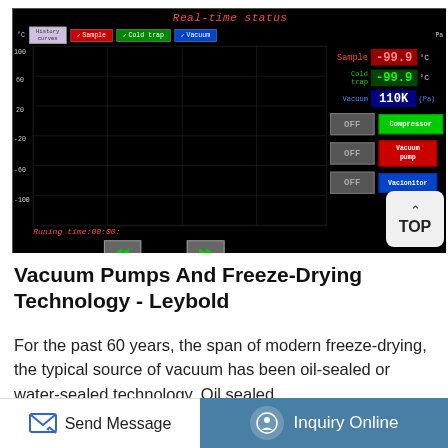[Figure (screenshot): Real-time status screen of a freeze-dryer control panel showing temperature and vacuum readings. Displays Sample: -99.9°C, Cold trap: -99.9°C, Vacuum: 110K Pa. Chart with time axis (10h-14h) and temperature axis (-100 to 100°C). Control buttons: Compressor (green, OFF), Vacuum pump (red, OFF), Vacionitor (blue, OFF). Running time: 00:00:]
Vacuum Pumps And Freeze-Drying Technology - Leybold
For the past 60 years, the span of modern freeze-drying, the typical source of vacuum has been oil-sealed or water-sealed technology. Oil sealed